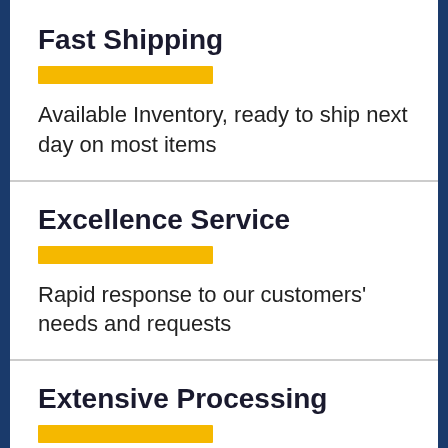Fast Shipping
Available Inventory, ready to ship next day on most items
Excellence Service
Rapid response to our customers' needs and requests
Extensive Processing